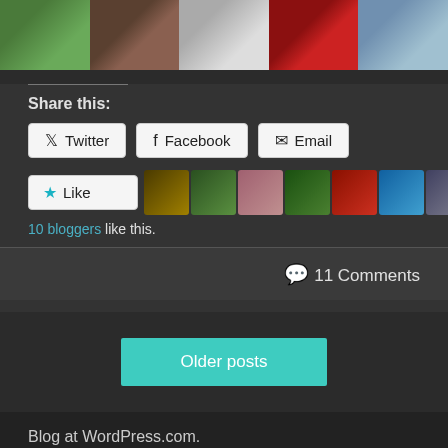[Figure (photo): Strip of 5 thumbnail photos showing nature, door, building, red design, and map]
Share this:
Twitter | Facebook | Email (share buttons)
[Figure (photo): Like button with star icon and 10 blogger avatar thumbnails]
10 bloggers like this.
11 Comments
Older posts
Blog at WordPress.com.